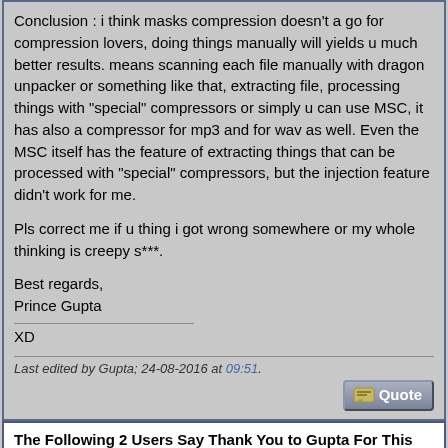Conclusion : i think masks compression doesn't a go for compression lovers, doing things manually will yields u much better results. means scanning each file manually with dragon unpacker or something like that, extracting file, processing things with "special" compressors or simply u can use MSC, it has also a compressor for mp3 and for wav as well. Even the MSC itself has the feature of extracting things that can be processed with "special" compressors, but the injection feature didn't work for me.
Pls correct me if u thing i got wrong somewhere or my whole thinking is creepy s***.
Best regards,
Prince Gupta
——————————
XD
Last edited by Gupta; 24-08-2016 at 09:51.
The Following 2 Users Say Thank You to Gupta For This Useful Post:
1234567890123 (27-05-2017), Carldric Clement (24-08-2016)
24-08-2016, 19:24